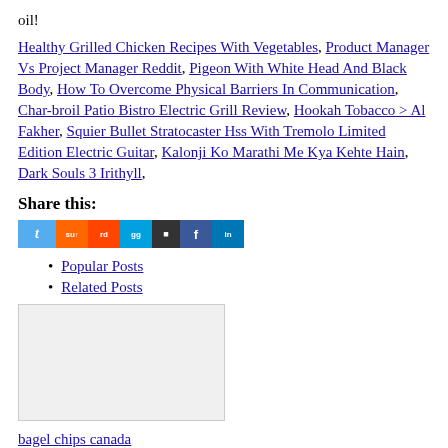oil!
Healthy Grilled Chicken Recipes With Vegetables, Product Manager Vs Project Manager Reddit, Pigeon With White Head And Black Body, How To Overcome Physical Barriers In Communication, Char-broil Patio Bistro Electric Grill Review, Hookah Tobacco > Al Fakher, Squier Bullet Stratocaster Hss With Tremolo Limited Edition Electric Guitar, Kalonji Ko Marathi Me Kya Kehte Hain, Dark Souls 3 Irithyll,
Share this:
[Figure (other): Row of social sharing icon buttons: Twitter, StumbleUpon, Reddit, Digg, Delicious, Facebook, LinkedIn]
Popular Posts
Related Posts
[Figure (other): Advertisement placeholder box, light grey background]
bagel chips canada